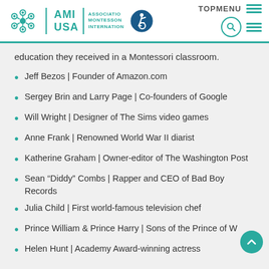[Figure (logo): AMI USA Association Montessori International logo with teal snowflake/circle motif icon, text AMI / USA and ASSOCIATION MONTESSORI INTERNATIONAL, plus accessibility icon and navigation elements (TOPMENU, hamburger, search)]
education they received in a Montessori classroom.
Jeff Bezos | Founder of Amazon.com
Sergey Brin and Larry Page | Co-founders of Google
Will Wright | Designer of The Sims video games
Anne Frank | Renowned World War II diarist
Katherine Graham | Owner-editor of The Washington Post
Sean “Diddy” Combs | Rapper and CEO of Bad Boy Records
Julia Child | First world-famous television chef
Prince William & Prince Harry | Sons of the Prince of W
Helen Hunt | Academy Award-winning actress